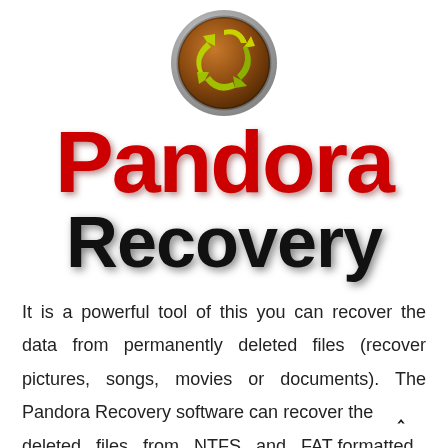[Figure (logo): Pandora Recovery circular logo with brown/gold background, silver ring border, and green/yellow recycling arrows.]
Pandora Recovery
It is a powerful tool of this you can recover the data from permanently deleted files (recover pictures, songs, movies or documents). The Pandora Recovery software can recover the deleted files from NTFS and FAT formatted